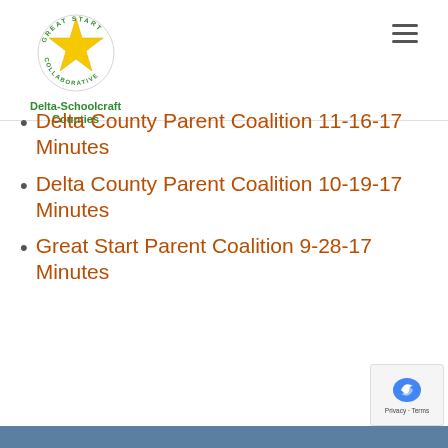[Figure (logo): Great Start Collaborative Delta-Schoolcraft Counties logo with yellow star and circular text]
Delta County Parent Coalition 11-16-17 Minutes
Delta County Parent Coalition 10-19-17 Minutes
Great Start Parent Coalition 9-28-17 Minutes
View upcoming meetings >